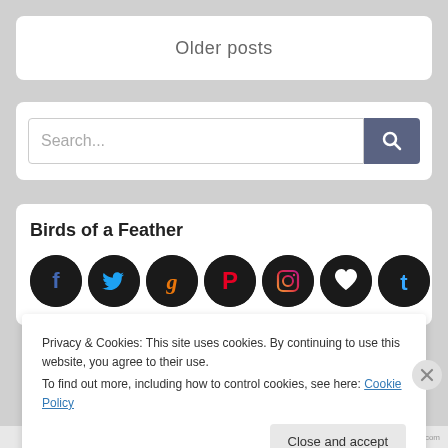Older posts
[Figure (screenshot): Search bar with text input field showing placeholder 'Search...' and a dark blue/grey search button with magnifying glass icon]
Birds of a Feather
[Figure (illustration): Seven circular social media icons on dark background: Facebook (blue f), Twitter (blue bird), Goodreads (g), Pinterest (red P), Instagram (colorful camera), a heart icon, and Tumblr (blue t)]
Privacy & Cookies: This site uses cookies. By continuing to use this website, you agree to their use.
To find out more, including how to control cookies, see here: Cookie Policy
Close and accept